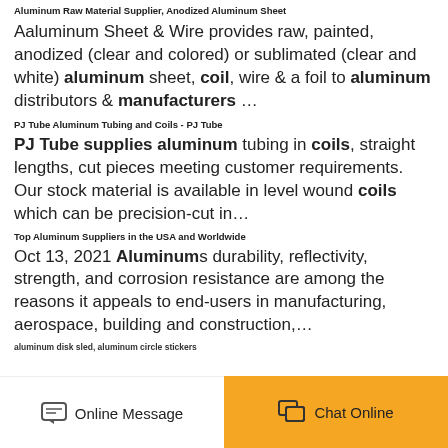Aluminum Raw Material Supplier, Anodized Aluminum Sheet
Aaluminum Sheet & Wire provides raw, painted, anodized (clear and colored) or sublimated (clear and white) aluminum sheet, coil, wire & a foil to aluminum distributors & manufacturers …
PJ Tube Aluminum Tubing and Coils - PJ Tube
PJ Tube supplies aluminum tubing in coils, straight lengths, cut pieces meeting customer requirements. Our stock material is available in level wound coils which can be precision-cut in…
Top Aluminum Suppliers in the USA and Worldwide
Oct 13, 2021 Aluminums durability, reflectivity, strength, and corrosion resistance are among the reasons it appeals to end-users in manufacturing, aerospace, building and construction,…
aluminum disk sled, aluminum circle stickers
Henan Huawei Aluminum Co., Ltd, a privately-owned enterprises established in 2001, is located in Huiguo Town which is the famous Aluminum Capital in Henan Province, China.…
Online Message | Chat Online